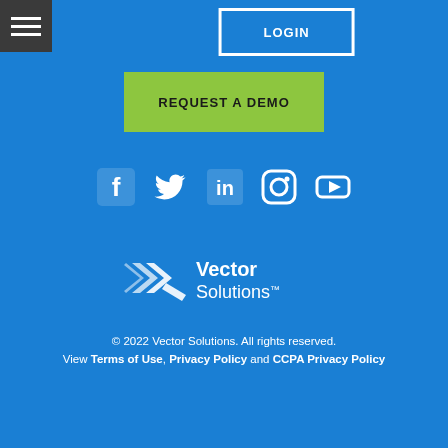[Figure (screenshot): Hamburger menu icon (three white horizontal lines on dark grey background)]
LOGIN
REQUEST A DEMO
[Figure (illustration): Social media icons: Facebook, Twitter, LinkedIn, Instagram, YouTube — all white on blue background]
[Figure (logo): Vector Solutions logo — white chevron/arrow graphic with 'Vector Solutions' text in white]
© 2022 Vector Solutions. All rights reserved. View Terms of Use, Privacy Policy and CCPA Privacy Policy